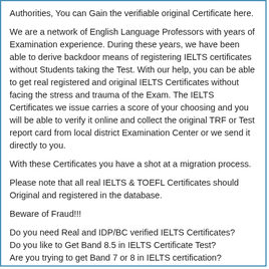Authorities, You can Gain the verifiable original Certificate here.
We are a network of English Language Professors with years of Examination experience. During these years, we have been able to derive backdoor means of registering IELTS certificates without Students taking the Test. With our help, you can be able to get real registered and original IELTS Certificates without facing the stress and trauma of the Exam. The IELTS Certificates we issue carries a score of your choosing and you will be able to verify it online and collect the original TRF or Test report card from local district Examination Center or we send it directly to you.
With these Certificates you have a shot at a migration process.
Please note that all real IELTS & TOEFL Certificates should Original and registered in the database.
Beware of Fraud!!!
Do you need Real and IDP/BC verified IELTS Certificates?
Do you like to Get Band 8.5 in IELTS Certificate Test?
Are you trying to get Band 7 or 8 in IELTS certification?